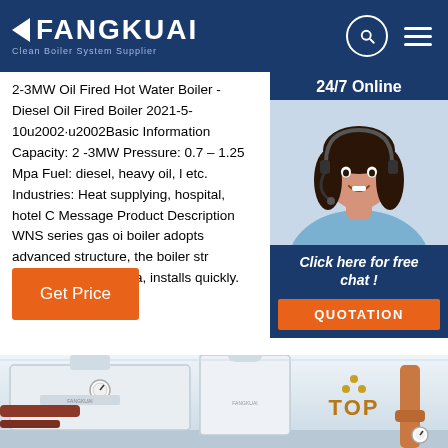FANGKUAI Clean Boiler System Supplier
2-3MW Oil Fired Hot Water Boiler - Diesel Oil Fired Boiler 2021-5-10u2002·u2002Basic Information Capacity: 2 -3MW Pressure: 0.7 – 1.25 Mpa Fuel: diesel, heavy oil, l etc. Industries: Heat supplying, hospital, hotel C Message Product Description WNS series gas oi boiler adopts advanced structure, the boiler str occupies a small area, installs quickly. The [...]
Get Price
[Figure (photo): Customer service woman with headset, 24/7 Online widget overlay with dark blue background, Click here for free chat text, and QUOTATION orange button]
[Figure (photo): White industrial hot water boilers/heating equipment in an indoor facility, with copper/red pipes visible, pressure gauges, and a TOP badge in gold]